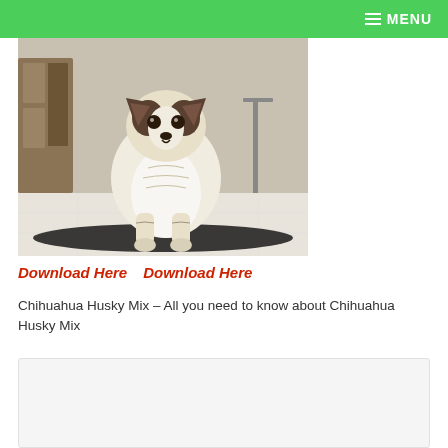MENU
[Figure (photo): A small Chihuahua Husky mix puppy standing on a white tile floor indoors, with a dark mat/rug behind it and furniture in the background.]
Download Here   Download Here
Chihuahua Husky Mix – All you need to know about Chihuahua Husky Mix
[Figure (other): Advertisement or placeholder box with light gray background]